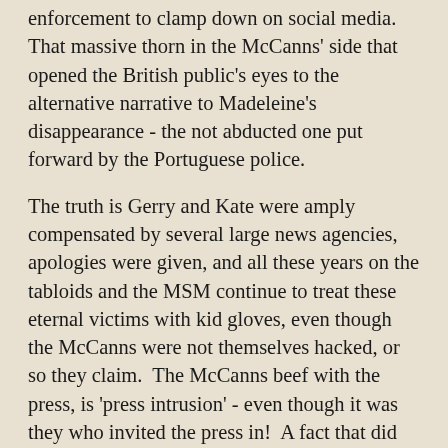enforcement to clamp down on social media. That massive thorn in the McCanns' side that opened the British public's eyes to the alternative narrative to Madeleine's disappearance - the not abducted one put forward by the Portuguese police.
The truth is Gerry and Kate were amply compensated by several large news agencies, apologies were given, and all these years on the tabloids and the MSM continue to treat these eternal victims with kid gloves, even though the McCanns were not themselves hacked, or so they claim.  The McCanns beef with the press, is 'press intrusion' - even though it was they who invited the press in!  A fact that did not go overlooked by the Portuguese Supreme Court.
I'm afraid the McCanns' endeavours to silence the media, both mainstream and social, is one of the reasons I continue to oppose them online.  Their need for